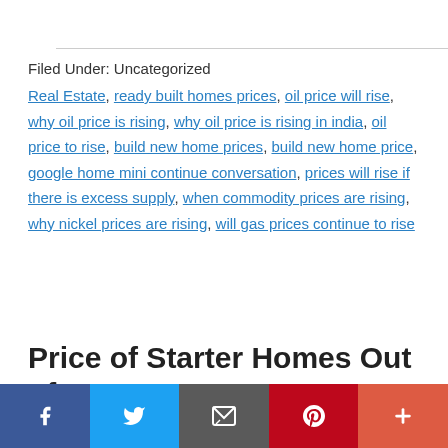Filed Under: Uncategorized
Real Estate, ready built homes prices, oil price will rise, why oil price is rising, why oil price is rising in india, oil price to rise, build new home prices, build new home price, google home mini continue conversation, prices will rise if there is excess supply, when commodity prices are rising, why nickel prices are rising, will gas prices continue to rise
Price of Starter Homes Out of Reach for Many Angelenos:
Social share bar: Facebook, Twitter, Email, Pinterest, Plus